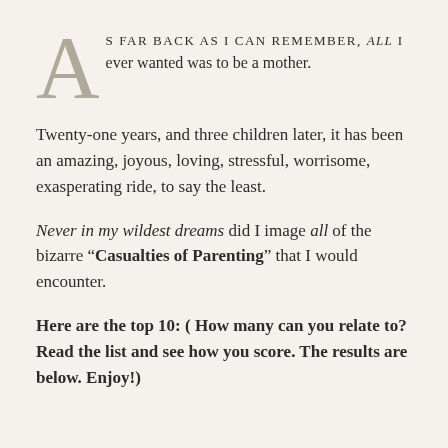As far back as I can remember, ALL I ever wanted was to be a mother.
Twenty-one years, and three children later, it has been an amazing, joyous, loving, stressful, worrisome, exasperating ride, to say the least.
Never in my wildest dreams did I image all of the bizarre “Casualties of Parenting” that I would encounter.
Here are the top 10: ( How many can you relate to? Read the list and see how you score. The results are below. Enjoy!)